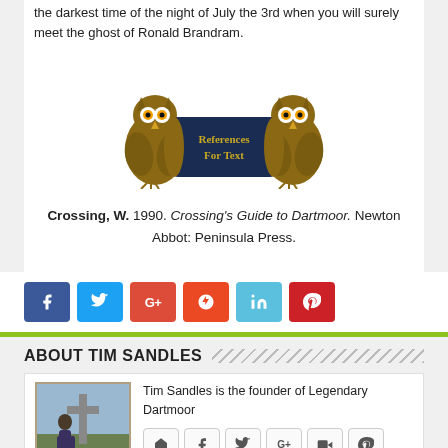the darkest time of the night of July the 3rd when you will surely meet the ghost of Ronald Brandram.
[Figure (illustration): Decorative illustration of two owls flanking a dark blue banner sign reading 'References For Text' in gold Gothic lettering, on a scroll.]
Crossing, W. 1990. Crossing's Guide to Dartmoor. Newton Abbot: Peninsula Press.
[Figure (other): Row of social media share buttons: Facebook (blue), Twitter (light blue), Google+ (red), StumbleUpon (orange-red), LinkedIn (light blue), Pinterest (red)]
ABOUT TIM SANDLES
[Figure (photo): Photo of Tim Sandles standing outdoors next to a stone cross]
Tim Sandles is the founder of Legendary Dartmoor
[Figure (other): Row of social media icon buttons: home, Facebook, Twitter, Google+, YouTube, Pinterest]